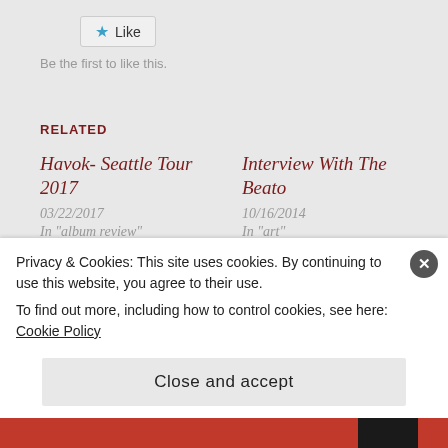[Figure (other): Like button with blue star icon]
Be the first to like this.
RELATED
Havok- Seattle Tour 2017
03/22/2017
In "album review"
Interview With The Beato
10/16/2014
In "art"
Machine Head- Continuing the rEVOLUTION of music.
Privacy & Cookies: This site uses cookies. By continuing to use this website, you agree to their use.
To find out more, including how to control cookies, see here: Cookie Policy
Close and accept